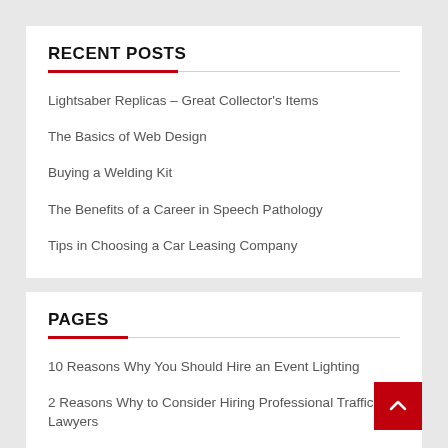RECENT POSTS
Lightsaber Replicas – Great Collector's Items
The Basics of Web Design
Buying a Welding Kit
The Benefits of a Career in Speech Pathology
Tips in Choosing a Car Leasing Company
PAGES
10 Reasons Why You Should Hire an Event Lighting
2 Reasons Why to Consider Hiring Professional Traffic Lawyers
3 Common Signs that You May Need Orthodontics